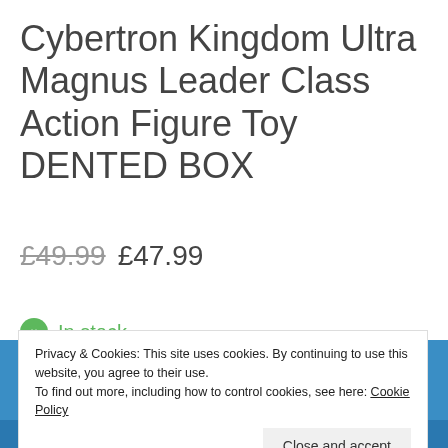Cybertron Kingdom Ultra Magnus Leader Class Action Figure Toy DENTED BOX
£49.99  £47.99
In stock
Privacy & Cookies: This site uses cookies. By continuing to use this website, you agree to their use.
To find out more, including how to control cookies, see here: Cookie Policy
Close and accept